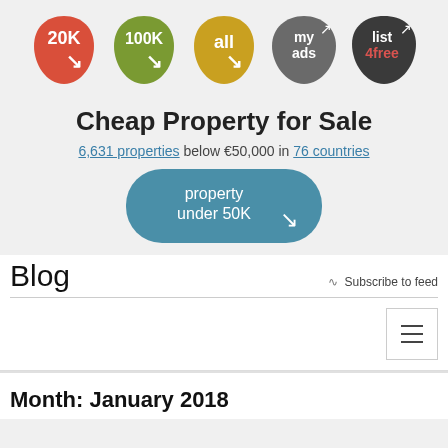[Figure (infographic): Five colored blob/button shapes in a row: red '20K' with arrow, green '100K' with arrow, olive/yellow 'all' with arrow, gray 'my ads' with external link arrow, dark gray 'list 4free' with external link arrow and '4free' in pink/red]
Cheap Property for Sale
6,631 properties below €50,000 in 76 countries
[Figure (infographic): Large teal rounded rectangle button reading 'property under 50K' with a downward-right arrow]
Blog
Subscribe to feed
[Figure (infographic): A small white box with a hamburger menu icon (three horizontal lines)]
Month: January 2018